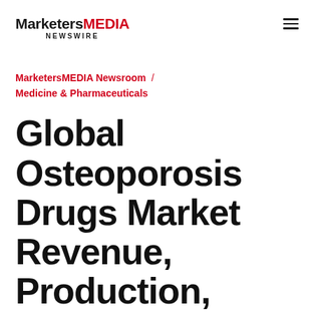MarketersMEDIA NEWSWIRE
MarketersMEDIA Newsroom / Medicine & Pharmaceuticals
Global Osteoporosis Drugs Market Revenue, Production, Capacity Analysis from